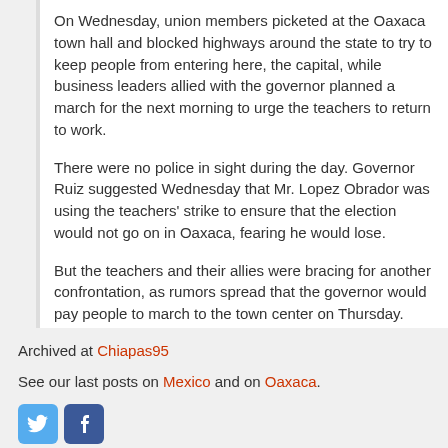On Wednesday, union members picketed at the Oaxaca town hall and blocked highways around the state to try to keep people from entering here, the capital, while business leaders allied with the governor planned a march for the next morning to urge the teachers to return to work.
There were no police in sight during the day. Governor Ruiz suggested Wednesday that Mr. Lopez Obrador was using the teachers' strike to ensure that the election would not go on in Oaxaca, fearing he would lose.
But the teachers and their allies were bracing for another confrontation, as rumors spread that the governor would pay people to march to the town center on Thursday. “We have to avoid confrontation and not fall into the governor’s provocations,” said Manuel Flores, 32, a high school teacher from San Sebastia’n de Yutan.
Archived at Chiapas95
See our last posts on Mexico and on Oaxaca.
[Figure (logo): Twitter and Facebook social media icons]